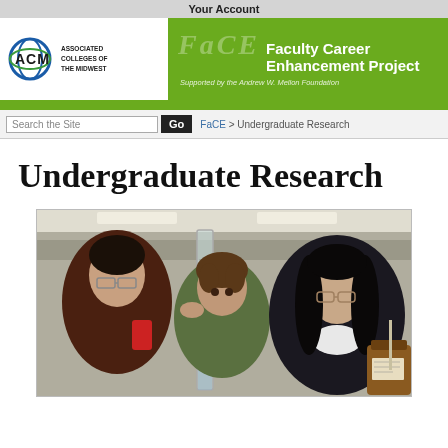Your Account
[Figure (logo): ACM (Associated Colleges of the Midwest) logo with green FaCE Faculty Career Enhancement Project banner. Supported by the Andrew W. Mellon Foundation.]
Search the Site | ACM > FaCE > Undergraduate Research
Undergraduate Research
[Figure (photo): Three students in a laboratory setting examining a tall glass cylinder/graduated cylinder. One student on the left wears glasses and holds a red object, the middle student looks closely at the cylinder, and the student on the right wears glasses and has long dark hair.]